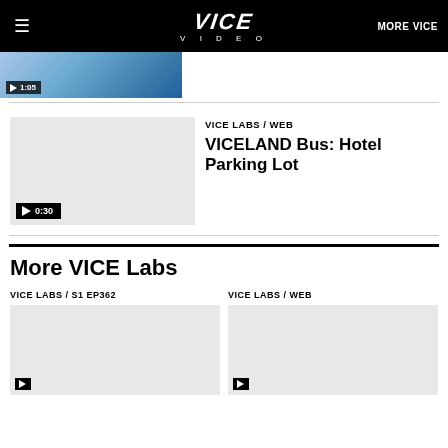VICE VIDEO | MORE VICE
[Figure (screenshot): Video thumbnail showing water/surfing scene with play button and duration 1:05]
VICE LABS / WEB
VICELAND Bus: Hotel Parking Lot
[Figure (screenshot): Gray video thumbnail with play button overlay showing duration 0:30]
More VICE Labs
VICE LABS / S1 EP362
VICE LABS / WEB
[Figure (screenshot): Gray video thumbnail grid item left]
[Figure (screenshot): Gray video thumbnail grid item right]